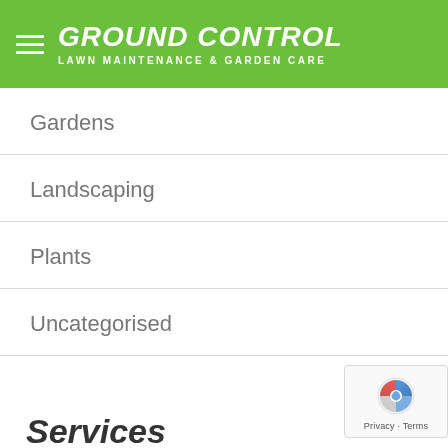GROUND CONTROL — LAWN MAINTENANCE & GARDEN CARE
Gardens
Landscaping
Plants
Uncategorised
Services